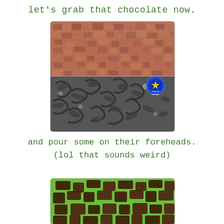let's grab that chocolate now.
[Figure (photo): Two-panel photo: top half shows small brown chocolate pieces/gravel, bottom half shows dark gray/black chocolate curls or shavings with a blue circular logo/stamp visible in the top right of the bottom panel]
and pour some on their foreheads.
(lol that sounds weird)
[Figure (photo): Partial photo showing green surface with dark chocolate pieces on top, partially cropped at bottom of page]